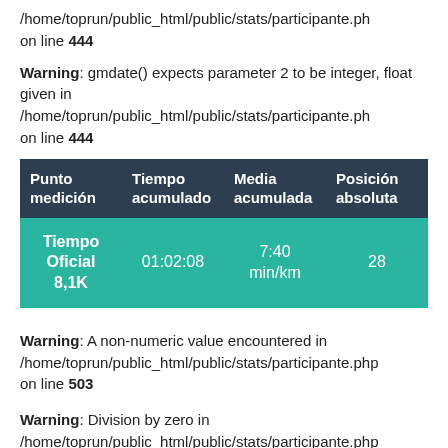/home/toprun/public_html/public/stats/participante.ph on line 444
Warning: gmdate() expects parameter 2 to be integer, float given in /home/toprun/public_html/public/stats/participante.ph on line 444
| Punto medición | Tiempo acumulado | Media acumulada | Posición absoluta |
| --- | --- | --- | --- |
| Tiempo Oficial 8,1K | 01:02:08 | 7:40 min/km | 28 |
Warning: A non-numeric value encountered in /home/toprun/public_html/public/stats/participante.php on line 503
Warning: Division by zero in /home/toprun/public_html/public/stats/participante.php on line 503